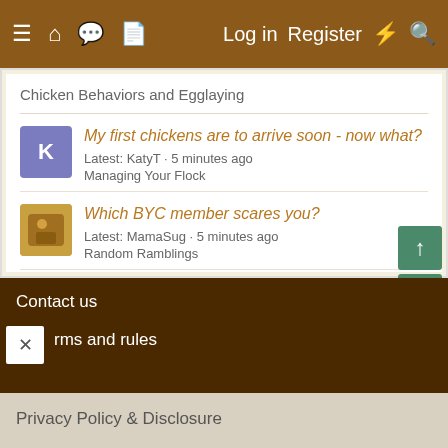≡  🏠  💬  📄    Log in   Register  ⚡  🔍
Chicken Behaviors and Egglaying
My first chickens are to arrive soon - now what?
Latest: KatyT · 5 minutes ago
Managing Your Flock
Which BYC member scares you?
Latest: MamaSug · 5 minutes ago
Random Ramblings
Is She Molting?
Latest: rosemarythyme · 5 minutes ago
Chicken Behaviors and Egglaying
Contact us
Terms and rules
Privacy Policy & Disclosure